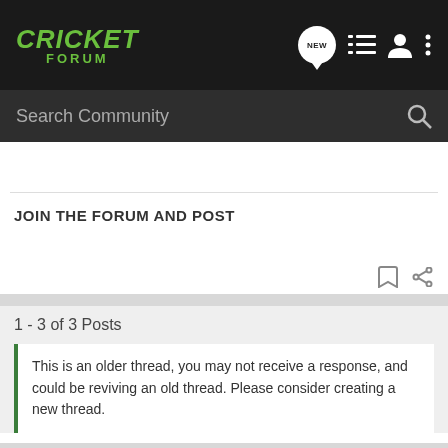CRICKET FORUM
Search Community
JOIN THE FORUM AND POST
1 - 3 of 3 Posts
This is an older thread, you may not receive a response, and could be reviving an old thread. Please consider creating a new thread.
Join the discussion